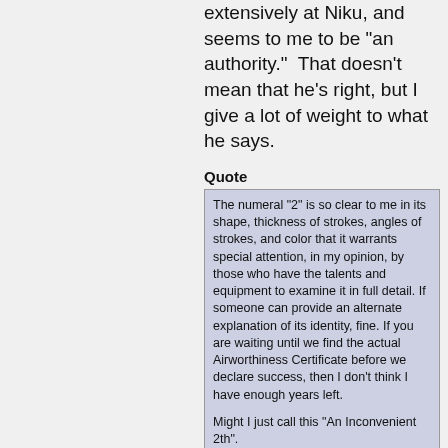extensively at Niku, and seems to me to be "an authority."  That doesn't mean that he's right, but I give a lot of weight to what he says.
Quote
The numeral "2" is so clear to me in its shape, thickness of strokes, angles of strokes, and color that it warrants special attention, in my opinion, by those who have the talents and equipment to examine it in full detail. If someone can provide an alternate explanation of its identity, fine. If you are waiting until we find the actual Airworthiness Certificate before we declare success, then I don't think I have enough years left.

Might I just call this "An Inconvenient 2th".
I'm not asking more of TIGHAR than TIGHAR is